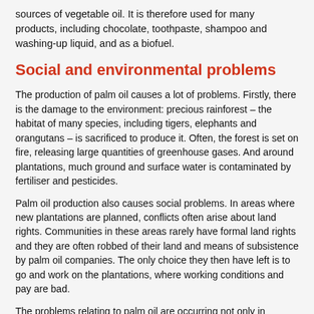sources of vegetable oil. It is therefore used for many products, including chocolate, toothpaste, shampoo and washing-up liquid, and as a biofuel.
Social and environmental problems
The production of palm oil causes a lot of problems. Firstly, there is the damage to the environment: precious rainforest – the habitat of many species, including tigers, elephants and orangutans – is sacrificed to produce it. Often, the forest is set on fire, releasing large quantities of greenhouse gases. And around plantations, much ground and surface water is contaminated by fertiliser and pesticides.
Palm oil production also causes social problems. In areas where new plantations are planned, conflicts often arise about land rights. Communities in these areas rarely have formal land rights and they are often robbed of their land and means of subsistence by palm oil companies. The only choice they then have left is to go and work on the plantations, where working conditions and pay are bad.
The problems relating to palm oil are occurring not only in Malaysia and Indonesia – in the latter alone nine million hectares (more than twice the size of the Netherlands) had been turned into oil palm plantations by the end of 2016 – but increasingly